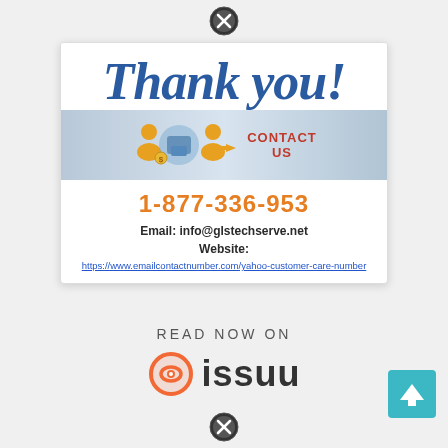[Figure (illustration): Close/cancel button (X circle) at the top center of the page]
[Figure (infographic): Thank you card with cursive 'Thank you!' text in navy blue, a contact us banner with phone/people icons, phone number 1-877-336-953 in orange, email info@glstechserve.net, and website URL https://www.emailcontactnumber.com/yahoo-customer-care-number]
READ NOW ON
[Figure (logo): Issuu logo — orange circular icon with eye symbol and the word 'issuu' in dark gray bold text]
[Figure (illustration): Close/cancel button (X circle) at the bottom center of the page]
[Figure (illustration): Teal up-arrow button in bottom right corner]